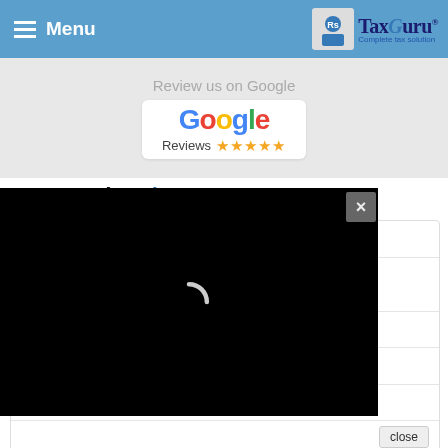Menu | TaxGuru — Complete tax solution
[Figure (screenshot): Google Reviews banner with Google logo and 5 star rating, with 'Review us on Google' text on grey background]
More Under Finance
Issuance of Debit Cards by IFSC Banking Units (IBUs)
...to Shopping Discounts, credit Cards offered by Top
...t Score. How One Can
How Profitable are Bitcoin Mining Sites in 2022
12 Advantages of Investing in Mutual Funds Over Equities
[Figure (screenshot): Black modal overlay with loading spinner arc and close X button]